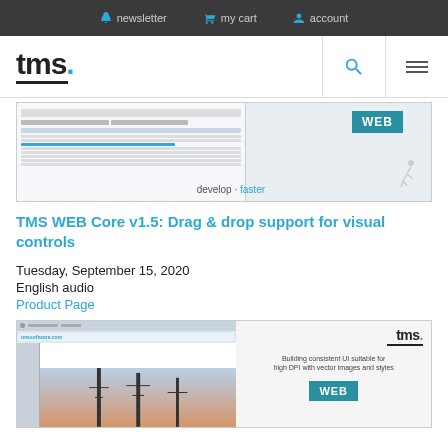newsletter  my cart  account
[Figure (logo): TMS software logo with blue dot and underline]
[Figure (screenshot): TMS WEB banner showing a data grid application interface with 'WEB' badge, 'develop·faster' text, and a running figure illustration]
TMS WEB Core v1.5: Drag & drop support for visual controls
Tuesday, September 15, 2020
English audio
Product Page
[Figure (screenshot): TMS WEB Core screenshot showing tmssoftware.com interface with an image of communication towers, tms logo, 'Building consistent UI suitable for high DPI with vector images and styles' text, and WEB badge]